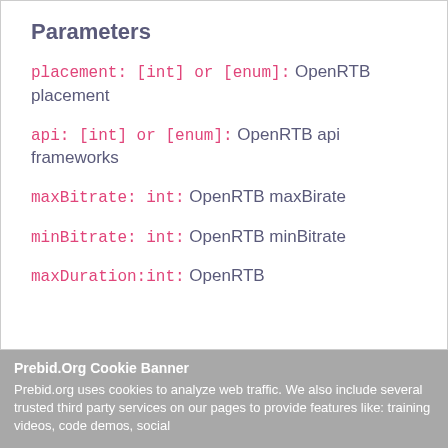Parameters
placement: [int] or [enum]: OpenRTB placement
api: [int] or [enum]: OpenRTB api frameworks
maxBitrate: int: OpenRTB maxBirate
minBitrate: int: OpenRTB minBitrate
maxDuration:int: OpenRTB
Prebid.Org Cookie Banner
Prebid.org uses cookies to analyze web traffic. We also include several trusted third party services on our pages to provide features like: training videos, code demos, social